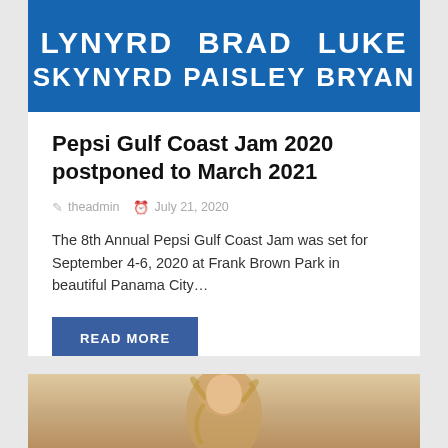[Figure (photo): Concert banner with blue background showing artist names: LYNYRD (SKYNYRD), BRAD (PAISLEY), LUKE (BRYAN) in large white bold text]
Pepsi Gulf Coast Jam 2020 postponed to March 2021
theadmin   July 21, 2020
The 8th Annual Pepsi Gulf Coast Jam was set for September 4-6, 2020 at Frank Brown Park in beautiful Panama City…
READ MORE
[Figure (photo): Partial photo of a blonde woman looking up, warm beige/tan background]